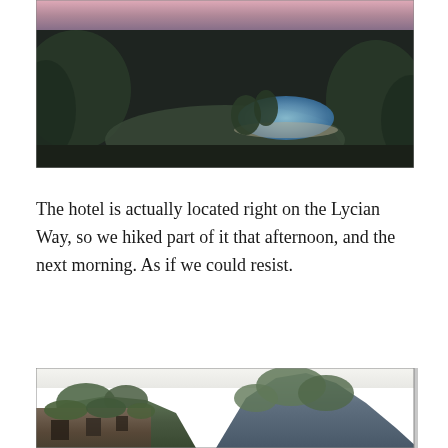[Figure (photo): Aerial/elevated view of a hotel pool area surrounded by dense green trees and hills at dusk, with a pink-purple sky in the background. The pool is visible in the center-right of the image.]
The hotel is actually located right on the Lycian Way, so we hiked part of it that afternoon, and the next morning. As if we could resist.
[Figure (photo): A ruined stone building in the foreground with green tree-covered rocky mountains and cliffs in the background against a bright sky.]